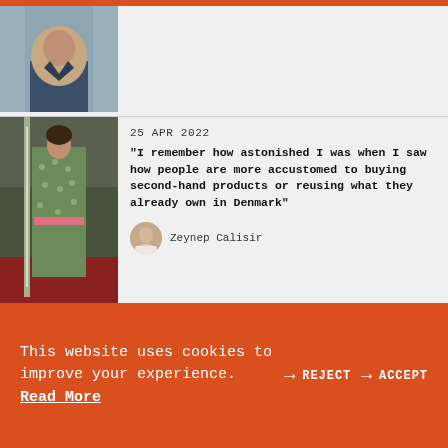[Figure (photo): Partial photo of a person visible at top of page, cropped]
[Figure (photo): Fashion photo: person in green patterned long coat on red carpet]
25 APR 2022
“I remember how astonished I was when I saw how people are more accustomed to buying second-hand products or reusing what they already own in Denmark”
[Figure (photo): Small circular avatar portrait of Zeynep Calisir]
Zeynep Calisir
[Figure (illustration): Sketch/drawing illustration with wavy lines]
20 APR 2022
The art of conversation!
This website uses cookies to improve your experience. Read More
→ REJECT  → ACCEPT